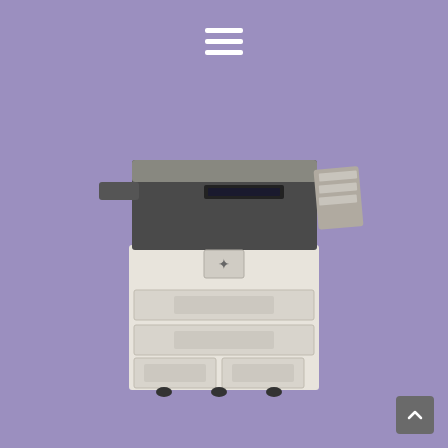[Figure (other): Hamburger menu icon with three white horizontal bars on purple background]
[Figure (photo): Sharp multifunction office copier/printer in white and gray, with paper trays, document feeder, and finisher accessory on the right]
Atlantic Office Automation, Inc.
(650) 259-8088
mariac@aoa-sf.com
890 Cowan Road, Suite I
Burlingame, CA 94010